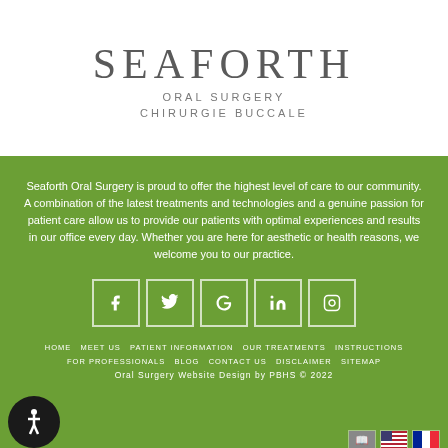[Figure (logo): Seaforth Oral Surgery logo with large serif text SEAFORTH and subtitle ORAL SURGERY / CHIRURGIE BUCCALE]
Seaforth Oral Surgery is proud to offer the highest level of care to our community. A combination of the latest treatments and technologies and a genuine passion for patient care allow us to provide our patients with optimal experiences and results in our office every day. Whether you are here for aesthetic or health reasons, we welcome you to our practice.
[Figure (infographic): Row of 5 social media icon boxes: Facebook, Twitter, Google, LinkedIn, Instagram]
HOME  MEET US  PATIENT INFORMATION  OUR TREATMENTS  INSTRUCTIONS  FOR PROFESSIONALS  BLOG  CONTACT US  DISCLAIMER  SITEMAP  Oral Surgery Website Design by PBHS © 2022